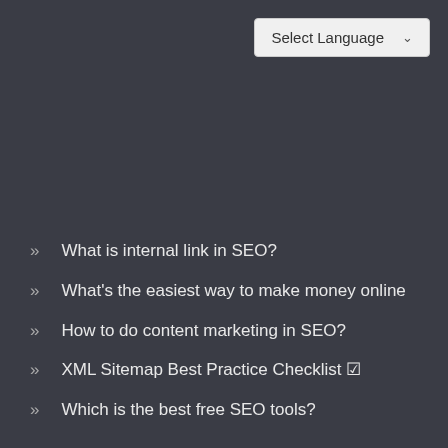Select Language
What is internal link in SEO?
What's the easiest way to make money online
How to do content marketing in SEO?
XML Sitemap Best Practice Checklist 🗹
Which is the best free SEO tools?